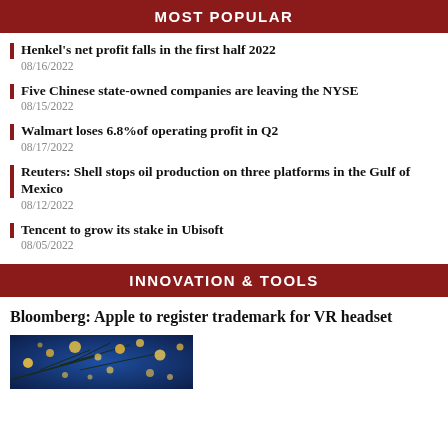MOST POPULAR
Henkel's net profit falls in the first half 2022
08/16/2022
Five Chinese state-owned companies are leaving the NYSE
08/15/2022
Walmart loses 6.8% of operating profit in Q2
08/17/2022
Reuters: Shell stops oil production on three platforms in the Gulf of Mexico
08/12/2022
Tencent to grow its stake in Ubisoft
08/05/2022
INNOVATION & TOOLS
Bloomberg: Apple to register trademark for VR headset
[Figure (photo): Night sky or bokeh lights photo with blue background and yellow/golden light dots on branches]